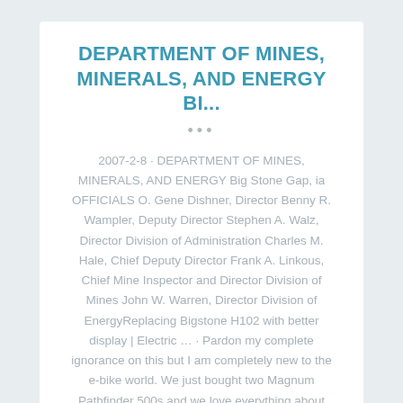DEPARTMENT OF MINES, MINERALS, AND ENERGY BI...
... 2007-2-8 · DEPARTMENT OF MINES, MINERALS, AND ENERGY Big Stone Gap, ia OFFICIALS O. Gene Dishner, Director Benny R. Wampler, Deputy Director Stephen A. Walz, Director Division of Administration Charles M. Hale, Chief Deputy Director Frank A. Linkous, Chief Mine Inspector and Director Division of Mines John W. Warren, Director Division of EnergyReplacing Bigstone H102 with better display | Electric … · Pardon my complete ignorance on this but I am completely new to the e-bike world. We just bought two Magnum Pathfinder 500s and we love everything about them except the Bigstone H102 displays. Is there a compatible display that would be an upgrade? Thanks for any info anyone has!